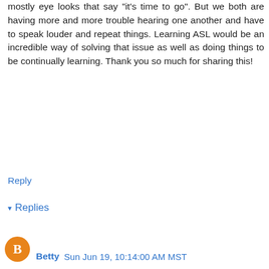mostly eye looks that say "it's time to go". But we both are having more and more trouble hearing one another and have to speak louder and repeat things. Learning ASL would be an incredible way of solving that issue as well as doing things to be continually learning. Thank you so much for sharing this!
Reply
▾ Replies
Bob Lowry  Wed Jun 15, 12:06:00 PM MST
You are very welcome! Our hope is to learn enough to ease the type of problem you mention. As it is now, we do have to repeat ourselves more often than we used to.

I will have a followup post in a month or two to you let you know how we are doing.
Betty  Sun Jun 19, 10:14:00 AM MST